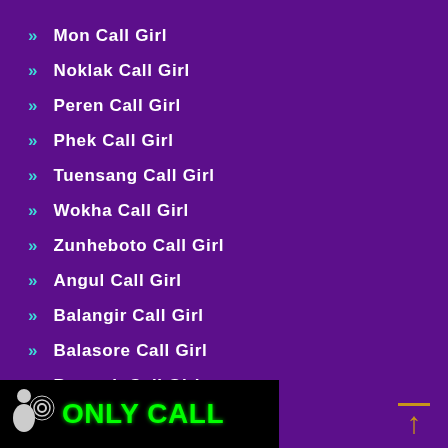Mon Call Girl
Noklak Call Girl
Peren Call Girl
Phek Call Girl
Tuensang Call Girl
Wokha Call Girl
Zunheboto Call Girl
Angul Call Girl
Balangir Call Girl
Balasore Call Girl
Bargarh Call Girl
[Figure (logo): ONLY CALL logo banner with person and phone icon on black background, green text]
[Figure (other): Scroll to top arrow icon in gold/orange color]